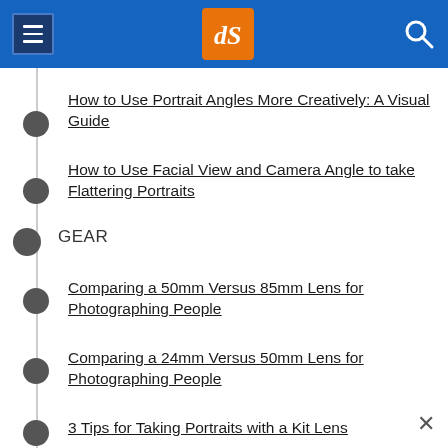dPS navigation header with hamburger menu, dPS logo, and search icon
How to Use Portrait Angles More Creatively: A Visual Guide
How to Use Facial View and Camera Angle to take Flattering Portraits
GEAR
Comparing a 50mm Versus 85mm Lens for Photographing People
Comparing a 24mm Versus 50mm Lens for Photographing People
3 Tips for Taking Portraits with a Kit Lens